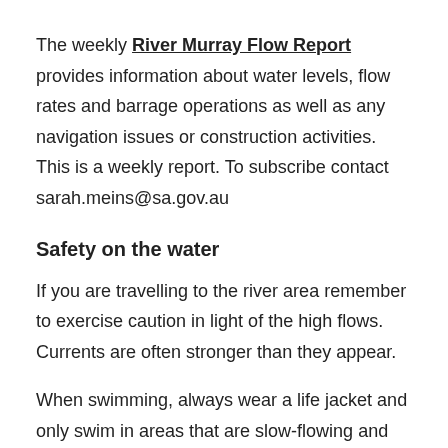The weekly River Murray Flow Report provides information about water levels, flow rates and barrage operations as well as any navigation issues or construction activities. This is a weekly report. To subscribe contact sarah.meins@sa.gov.au
Safety on the water
If you are travelling to the river area remember to exercise caution in light of the high flows. Currents are often stronger than they appear.
When swimming, always wear a life jacket and only swim in areas that are slow-flowing and free of submerged hazards.
When travelling on houseboats or smaller watercraft, it's